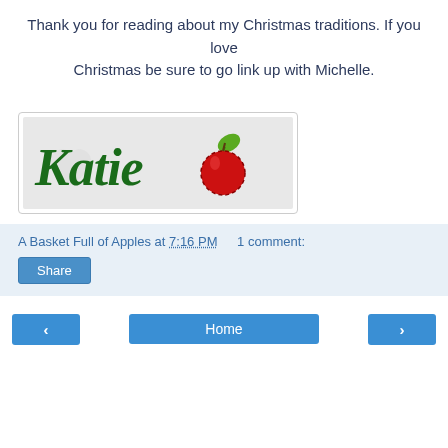Thank you for reading about my Christmas traditions. If you love Christmas be sure to go link up with Michelle.
[Figure (illustration): Signature image showing 'Katie' written in green decorative font with a red apple illustration next to it, on a light gray background.]
A Basket Full of Apples at 7:16 PM    1 comment:
Share
‹    Home    ›